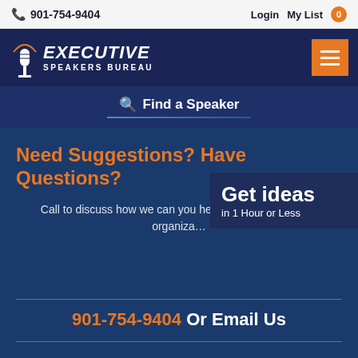901-754-9404  Login  My List 0
[Figure (logo): Executive Speakers Bureau logo with microphone icon and orange arc, white text on dark navy background]
Find a Speaker
Need Suggestions? Have Questions?
Call to discuss how we can you help speaker(s) for your organization
Get ideas in 1 Hour or Less
901-754-9404 Or Email Us